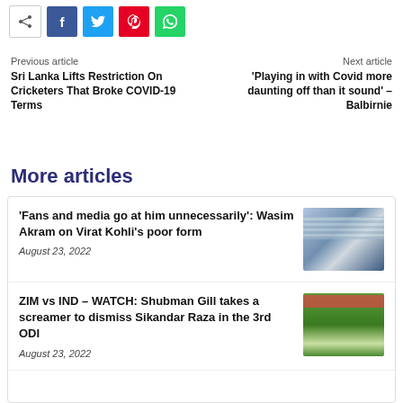[Figure (other): Social share buttons: share icon, Facebook (blue), Twitter (cyan), Pinterest (red), WhatsApp (green)]
Previous article
Sri Lanka Lifts Restriction On Cricketers That Broke COVID-19 Terms
Next article
'Playing in with Covid more daunting off than it sound' – Balbirnie
More articles
'Fans and media go at him unnecessarily': Wasim Akram on Virat Kohli's poor form
August 23, 2022
[Figure (photo): Photo of a person in blue clothing, partially blurred face]
ZIM vs IND – WATCH: Shubman Gill takes a screamer to dismiss Sikandar Raza in the 3rd ODI
August 23, 2022
[Figure (photo): Cricket match photo with red banner, green field visible]